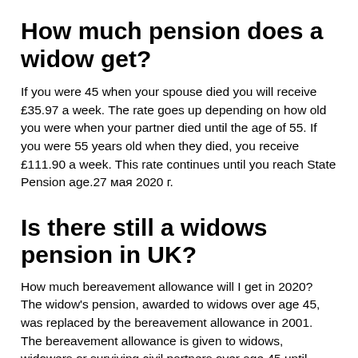How much pension does a widow get?
If you were 45 when your spouse died you will receive £35.97 a week. The rate goes up depending on how old you were when your partner died until the age of 55. If you were 55 years old when they died, you receive £111.90 a week. This rate continues until you reach State Pension age.27 мая 2020 г.
Is there still a widows pension in UK?
How much bereavement allowance will I get in 2020? The widow's pension, awarded to widows over age 45, was replaced by the bereavement allowance in 2001. The bereavement allowance is given to widows, widowers or surviving civil partners over age 45 until